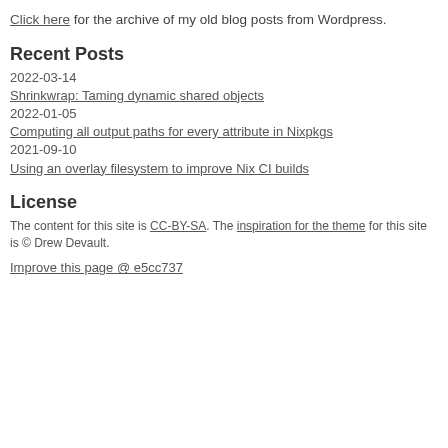Click here for the archive of my old blog posts from Wordpress.
Recent Posts
2022-03-14
Shrinkwrap: Taming dynamic shared objects
2022-01-05
Computing all output paths for every attribute in Nixpkgs
2021-09-10
Using an overlay filesystem to improve Nix CI builds
License
The content for this site is CC-BY-SA. The inspiration for the theme for this site is © Drew Devault.
Improve this page @ e5cc737